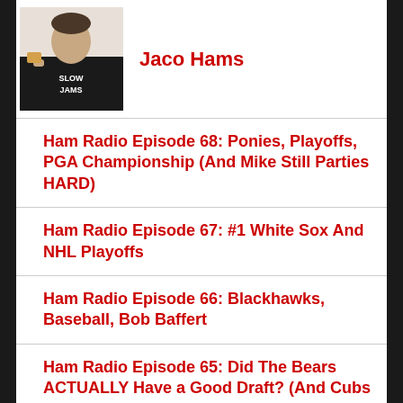[Figure (photo): Profile photo of a man wearing a black 'SLOW JAMS' t-shirt, drinking from a cup]
Jaco Hams
Ham Radio Episode 68: Ponies, Playoffs, PGA Championship (And Mike Still Parties HARD)
Ham Radio Episode 67: #1 White Sox And NHL Playoffs
Ham Radio Episode 66: Blackhawks, Baseball, Bob Baffert
Ham Radio Episode 65: Did The Bears ACTUALLY Have a Good Draft? (And Cubs Win In Extras Live Reaction)
[Figure (photo): Partial thumbnail image with teal/green and dark red/maroon cross or plus-sign design]